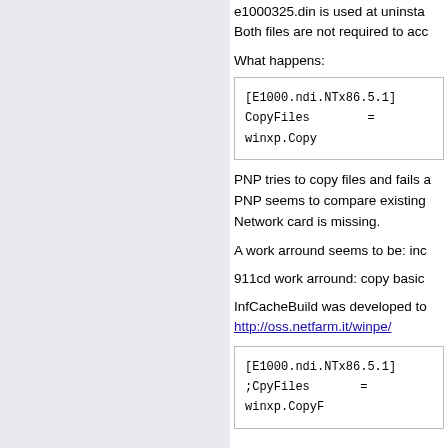e1000325.din is used at uninstall. Both files are not required to acc...
What happens:
[Figure (screenshot): Code box showing [E1000.ndi.NTx86.5.1] and CopyFiles = winxp.Copy...]
PNP tries to copy files and fails a... PNP seems to compare existing... Network card is missing.
A work arround seems to be: inc...
911cd work arround: copy basic...
InfCacheBuild was developed to... http://oss.netfarm.it/winpe/
[Figure (screenshot): Code box showing [E1000.ndi.NTx86.5.1] and ;CpyFiles = winxp.CopyF...]